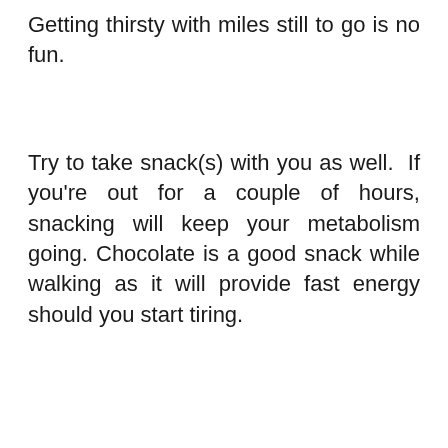Getting thirsty with miles still to go is no fun.
Try to take snack(s) with you as well. If you're out for a couple of hours, snacking will keep your metabolism going. Chocolate is a good snack while walking as it will provide fast energy should you start tiring.